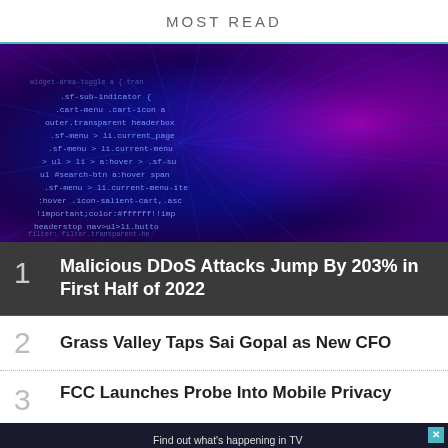MOST READ
[Figure (photo): Zoomed-in digital code on a dark blue and purple glowing background, representing cybersecurity or hacking theme]
1 Malicious DDoS Attacks Jump By 203% in First Half of 2022
2 Grass Valley Taps Sai Gopal as New CFO
3 FCC Launches Probe Into Mobile Privacy
[Figure (other): TVTechnology advertisement banner: 'Find out what's happening in TV today, tomorrow, and in the future. SUBSCRIBE TODAY!']